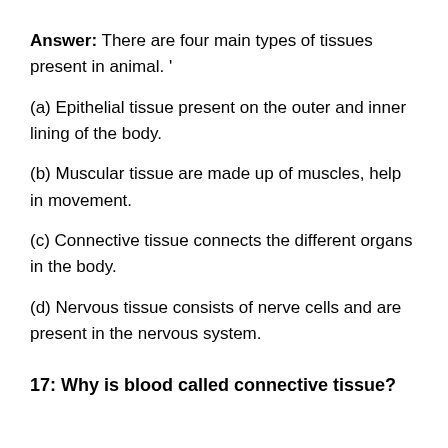Answer: There are four main types of tissues present in animal. '
(a) Epithelial tissue present on the outer and inner lining of the body.
(b) Muscular tissue are made up of muscles, help in movement.
(c) Connective tissue connects the different organs in the body.
(d) Nervous tissue consists of nerve cells and are present in the nervous system.
17: Why is blood called connective tissue?